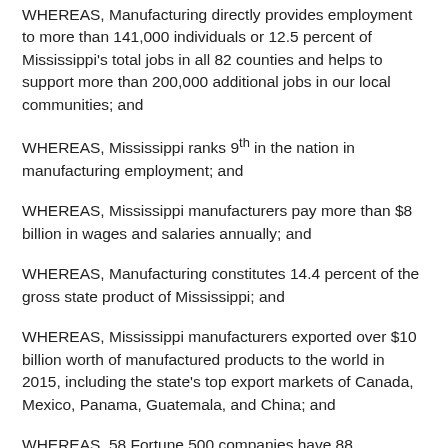WHEREAS, Manufacturing directly provides employment to more than 141,000 individuals or 12.5 percent of Mississippi's total jobs in all 82 counties and helps to support more than 200,000 additional jobs in our local communities; and
WHEREAS, Mississippi ranks 9th in the nation in manufacturing employment; and
WHEREAS, Mississippi manufacturers pay more than $8 billion in wages and salaries annually; and
WHEREAS, Manufacturing constitutes 14.4 percent of the gross state product of Mississippi; and
WHEREAS, Mississippi manufacturers exported over $10 billion worth of manufactured products to the world in 2015, including the state's top export markets of Canada, Mexico, Panama, Guatemala, and China; and
WHEREAS, 58 Fortune 500 companies have 88 manufacturing plants in Mississippi; and